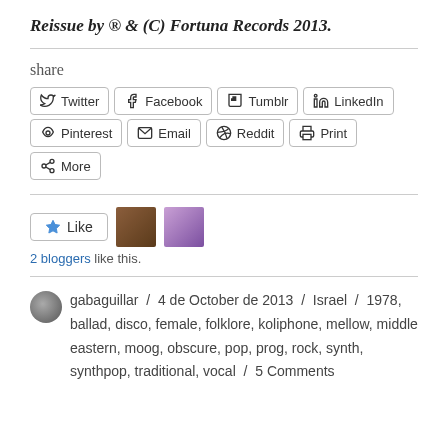Reissue by ® & (C) Fortuna Records 2013.
share
[Figure (other): Share buttons row 1: Twitter, Facebook, Tumblr, LinkedIn]
[Figure (other): Share buttons row 2: Pinterest, Email, Reddit, Print, More]
[Figure (other): Like button with 2 blogger avatars. Text: 2 bloggers like this.]
gabaguillar / 4 de October de 2013 / Israel / 1978, ballad, disco, female, folklore, koliphone, mellow, middle eastern, moog, obscure, pop, prog, rock, synth, synthpop, traditional, vocal / 5 Comments